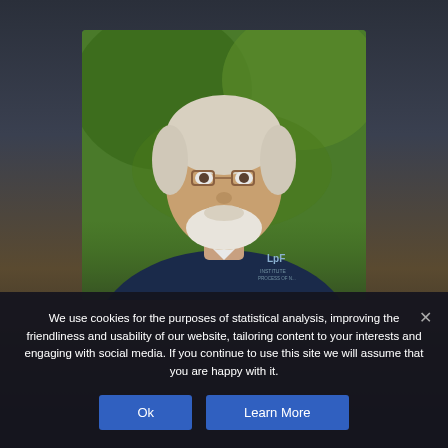[Figure (photo): Outdoor portrait of a middle-aged man with white/grey hair and beard, wearing glasses and a dark navy polo shirt with a logo, smiling, with green foliage background.]
We use cookies for the purposes of statistical analysis, improving the friendliness and usability of our website, tailoring content to your interests and engaging with social media. If you continue to use this site we will assume that you are happy with it.
Ok
Learn More